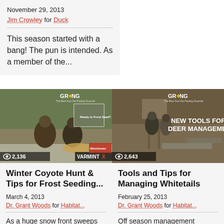November 29, 2013
Jim Crowley for Duck
This season started with a bang! The pun is intended. As a member of the...
[Figure (photo): Video thumbnail showing hunters in camouflage with a harvested coyote in snowy/winter conditions, with VARMINT X branding and Winchester ammunition box. View count: 2,136.]
Winter Coyote Hunt & Tips for Frost Seeding...
March 4, 2013
Dr. Grant Woods for Habitat...
As a huge snow front sweeps across the
[Figure (photo): Video thumbnail from GrowingDeer.TV showing two people near a deer stand with text 'New Tools for Deer Management!' and view count 2,643.]
Tools and Tips for Managing Whitetails
February 25, 2013
Dr. Grant Woods for Habitat...
Off season management continues here on The